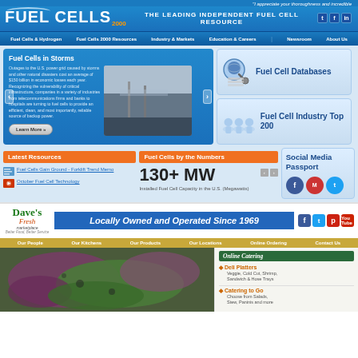"I appreciate your thoroughness and incredible
[Figure (logo): Fuel Cells 2000 logo with arc graphic]
THE LEADING INDEPENDENT FUEL CELL RESOURCE
Fuel Cells & Hydrogen | Fuel Cells 2000 Resources | Industry & Markets | Education & Careers | Newsroom | About Us
[Figure (screenshot): Fuel Cells in Storms article with winter storm photo. Outages to the U.S. power grid caused by storms and other natural disasters cost an average of $150 billion in economic losses each year. Recognizing the vulnerability of critical infrastructure, companies in a variety of industries from telecommunications firms and banks to hospitals are turning to fuel cells to provide an efficient, clean, and most importantly, reliable source of backup power. Learn More >>]
[Figure (screenshot): Fuel Cell Databases sidebar box with globe/magnifier icon]
[Figure (screenshot): Fuel Cell Industry Top 200 sidebar box with people icons]
Latest Resources
Fuel Cells by the Numbers
130+ MW
Installed Fuel Cell Capacity in the U.S. (Megawatts)
Fuel Cells Gain Ground - Forklift Trend Memo
October Fuel Cell Technology
[Figure (screenshot): Social Media Passport sidebar box with Facebook, MySpace, Twitter icons]
[Figure (logo): Dave's Fresh Marketplace logo - Locally Owned and Operated Since 1969]
Our People | Our Kitchens | Our Products | Our Locations | Online Ordering | Contact Us
[Figure (photo): Food photo showing purple cabbage and green beans]
[Figure (screenshot): Online Catering sidebar with Deli Platters and Catering to Go sections]